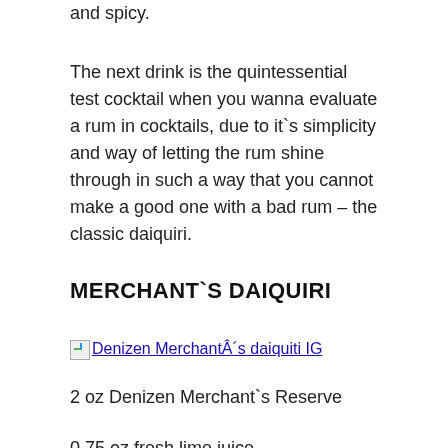and spicy.
The next drink is the quintessential test cocktail when you wanna evaluate a rum in cocktails, due to it`s simplicity and way of letting the rum shine through in such a way that you cannot make a good one with a bad rum – the classic daiquiri.
MERCHANT`S DAIQUIRI
[Figure (photo): Broken image placeholder link for 'Denizen MerchantÂ´s daiquiti IG']
2 oz Denizen Merchant`s Reserve
0.75 oz fresh lime juice
0.5 oz demerara sugar syrup
Glass: Libbey SPKSY